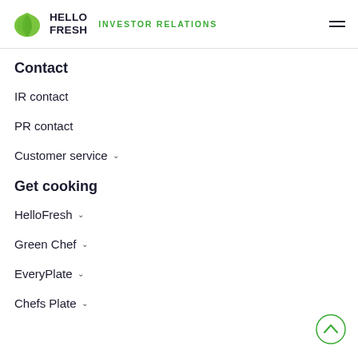HelloFresh INVESTOR RELATIONS
Contact
IR contact
PR contact
Customer service
Get cooking
HelloFresh
Green Chef
EveryPlate
Chefs Plate